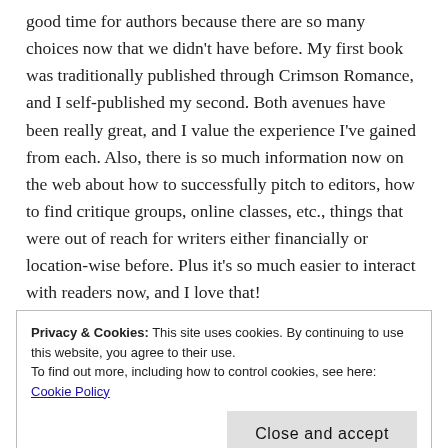good time for authors because there are so many choices now that we didn't have before. My first book was traditionally published through Crimson Romance, and I self-published my second. Both avenues have been really great, and I value the experience I've gained from each. Also, there is so much information now on the web about how to successfully pitch to editors, how to find critique groups, online classes, etc., things that were out of reach for writers either financially or location-wise before. Plus it's so much easier to interact with readers now, and I love that!
Privacy & Cookies: This site uses cookies. By continuing to use this website, you agree to their use. To find out more, including how to control cookies, see here: Cookie Policy
Close and accept
If I got a good review I'll link to it on Twitter, but I tr